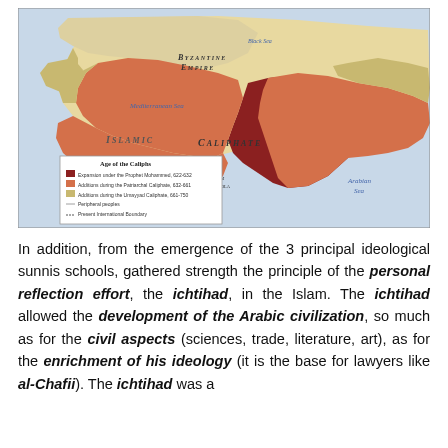[Figure (map): Historical map titled 'Age of the Caliphs' showing the Islamic Caliphate expansion across the Middle East, North Africa, and parts of Europe and Central Asia. Legend shows three shades: dark red for expansion under Prophet Mohammed 622-632, salmon/orange for additions during the Patriarchal Caliphate 632-661, and light tan for additions during the Umayyad Caliphate 661-750. Labels include Byzantine Empire, Islamic Caliphate, Mediterranean Sea, Arabian Sea, Kingdom of Dongola.]
In addition, from the emergence of the 3 principal ideological sunnis schools, gathered strength the principle of the personal reflection effort, the ichtihad, in the Islam. The ichtihad allowed the development of the Arabic civilization, so much as for the civil aspects (sciences, trade, literature, art), as for the enrichment of his ideology (it is the base for lawyers like al-Chafii). The ichtihad was a